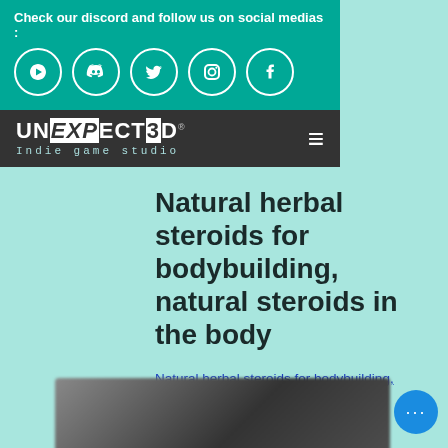Check our discord and follow us on social medias :
[Figure (logo): UNEXPECTED Indie game studio logo with hamburger menu icon on dark background]
Natural herbal steroids for bodybuilding, natural steroids in the body
Natural herbal steroids for bodybuilding, natural steroids in the body - Buy legal anabolic steroids
[Figure (photo): Blurred dark photograph, content indistinct]